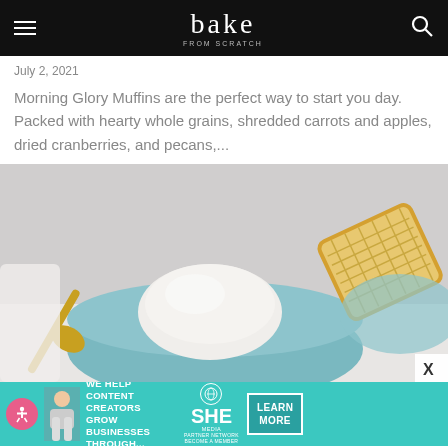bake
July 2, 2021
Morning Glory Muffins are the perfect way to start you day. Packed with hearty whole grains, shredded carrots and apples, dried cranberries, and pecans,...
[Figure (photo): A light blue ceramic bowl with a scoop of white ice cream and a cookie/cracker leaning against it, with a gold spoon, on a white surface]
[Figure (infographic): Advertisement banner: 'WE HELP CONTENT CREATORS GROW BUSINESSES THROUGH...' with SHE Media Partner Network logo and LEARN MORE button in teal]